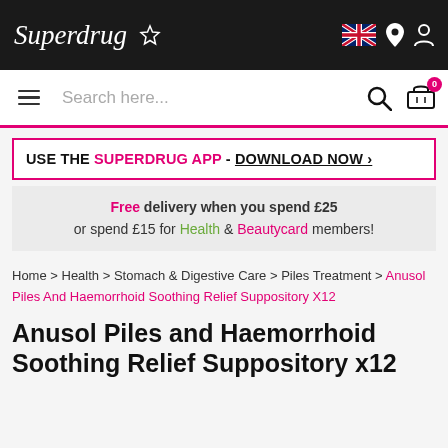Superdrug ☆
USE THE SUPERDRUG APP - DOWNLOAD NOW ›
Free delivery when you spend £25 or spend £15 for Health & Beautycard members!
Home > Health > Stomach & Digestive Care > Piles Treatment > Anusol Piles And Haemorrhoid Soothing Relief Suppository X12
Anusol Piles and Haemorrhoid Soothing Relief Suppository x12